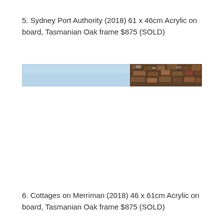5. Sydney Port Authority (2018) 61 x 46cm Acrylic on board, Tasmanian Oak frame $875 (SOLD)
[Figure (photo): Horizontal panoramic artwork showing a wide landscape: left portion is light blue sky/water, right portion shows dark textured land or foliage — appears to be a very wide, narrow crop of a painting of Sydney Port Authority.]
6. Cottages on Merriman (2018) 46 x 61cm Acrylic on board, Tasmanian Oak frame $875 (SOLD)